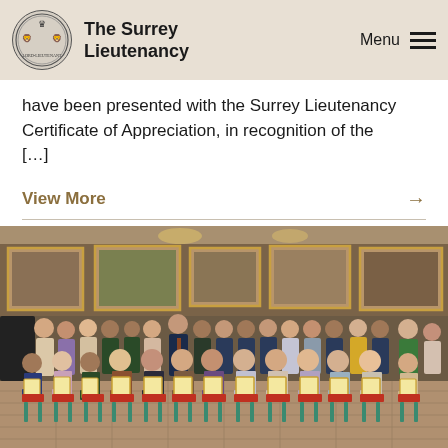The Surrey Lieutenancy
have been presented with the Surrey Lieutenancy Certificate of Appreciation, in recognition of the [...]
View More →
[Figure (photo): Group photo of approximately 30 people, seated and standing in two rows, in an ornate room with gold-framed paintings on the walls. Many of the seated people are holding framed certificates with gold borders.]